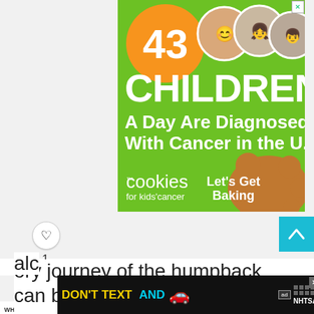[Figure (infographic): Advertisement banner: '43 CHILDREN A Day Are Diagnosed With Cancer in the U.S.' with cookies for kids' cancer logo and 'Let's Get Baking' text on green background with photos of three children]
[Figure (infographic): Scroll-up button (teal/cyan square with up arrow) on right side]
1
[Figure (infographic): What's Next navigation bar: 'WHAT'S NEXT → The Ultimate Guide to...' with circular photo thumbnail]
ory journey of the humpback whales can be experienced from numerous spots
alc
[Figure (infographic): NHTSA advertisement: 'DON'T TEXT AND [car emoji]' on black background with ad badge and NHTSA logo]